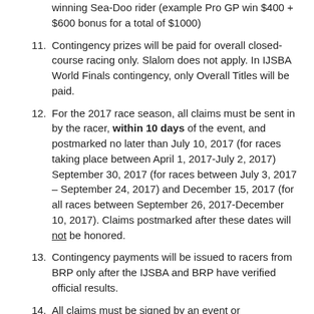winning Sea-Doo rider (example Pro GP win $400 + $600 bonus for a total of $1000)
11. Contingency prizes will be paid for overall closed-course racing only. Slalom does not apply. In IJSBA World Finals contingency, only Overall Titles will be paid.
12. For the 2017 race season, all claims must be sent in by the racer, within 10 days of the event, and postmarked no later than July 10, 2017 (for races taking place between April 1, 2017-July 2, 2017) September 30, 2017 (for races between July 3, 2017 – September 24, 2017) and December 15, 2017 (for all races between September 26, 2017-December 10, 2017). Claims postmarked after these dates will not be honored.
13. Contingency payments will be issued to racers from BRP only after the IJSBA and BRP have verified official results.
14. All claims must be signed by an event or